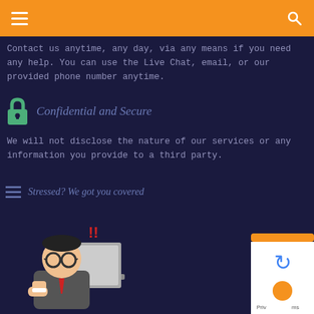Contact us anytime, any day, via any means if you need any help. You can use the Live Chat, email, or our provided phone number anytime.
Confidential and Secure
We will not disclose the nature of our services or any information you provide to a third party.
Stressed? We got you covered
[Figure (illustration): Cartoon illustration of a stressed businessman with glasses, clenching fist at a laptop with red exclamation marks above his head]
[Figure (logo): reCAPTCHA badge with blue recycle-arrows logo and gold circle, partial text 'Priv' and 'ms']